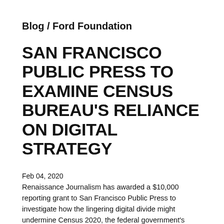Blog / Ford Foundation
SAN FRANCISCO PUBLIC PRESS TO EXAMINE CENSUS BUREAU'S RELIANCE ON DIGITAL STRATEGY
Feb 04, 2020
Renaissance Journalism has awarded a $10,000 reporting grant to San Francisco Public Press to investigate how the lingering digital divide might undermine Census 2020, the federal government's